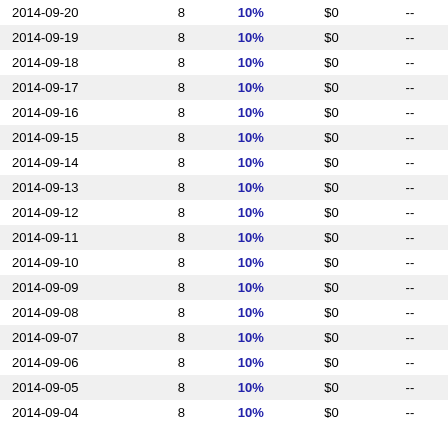| 2014-09-20 | 8 | 10% | $0 | -- |
| 2014-09-19 | 8 | 10% | $0 | -- |
| 2014-09-18 | 8 | 10% | $0 | -- |
| 2014-09-17 | 8 | 10% | $0 | -- |
| 2014-09-16 | 8 | 10% | $0 | -- |
| 2014-09-15 | 8 | 10% | $0 | -- |
| 2014-09-14 | 8 | 10% | $0 | -- |
| 2014-09-13 | 8 | 10% | $0 | -- |
| 2014-09-12 | 8 | 10% | $0 | -- |
| 2014-09-11 | 8 | 10% | $0 | -- |
| 2014-09-10 | 8 | 10% | $0 | -- |
| 2014-09-09 | 8 | 10% | $0 | -- |
| 2014-09-08 | 8 | 10% | $0 | -- |
| 2014-09-07 | 8 | 10% | $0 | -- |
| 2014-09-06 | 8 | 10% | $0 | -- |
| 2014-09-05 | 8 | 10% | $0 | -- |
| 2014-09-04 | 8 | 10% | $0 | -- |